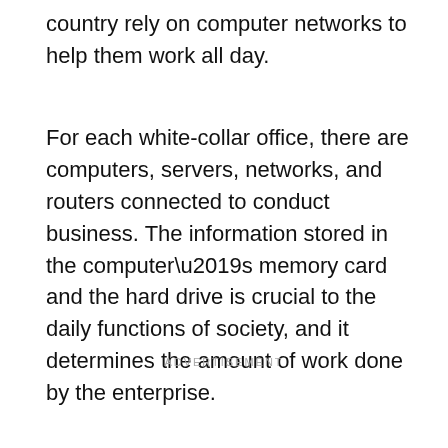country rely on computer networks to help them work all day.
For each white-collar office, there are computers, servers, networks, and routers connected to conduct business. The information stored in the computer’s memory card and the hard drive is crucial to the daily functions of society, and it determines the amount of work done by the enterprise.
ADVERTISEMENT